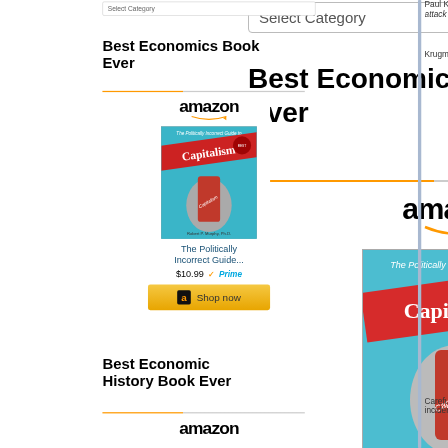Select Category
Best Economics Book Ever
[Figure (other): Amazon widget showing book 'The Politically Incorrect Guide...' priced at $10.99 with Prime badge and Shop now button]
Best Economic History Book Ever
[Figure (logo): Amazon logo at bottom]
Paul Krugman attack in wha
Krugman too
Careful, Dr. incident: